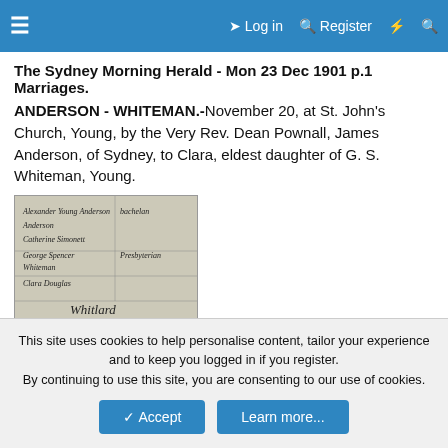Log in  Register
The Sydney Morning Herald - Mon 23 Dec 1901 p.1
Marriages.
ANDERSON - WHITEMAN.-November 20, at St. John's Church, Young, by the Very Rev. Dean Pownall, James Anderson, of Sydney, to Clara, eldest daughter of G. S. Whiteman, Young.
[Figure (photo): Handwritten historical document/marriage register entry showing cursive signatures and text including names and 'Officiating Minister']
This site uses cookies to help personalise content, tailor your experience and to keep you logged in if you register.
By continuing to use this site, you are consenting to our use of cookies.
Accept  Learn more...